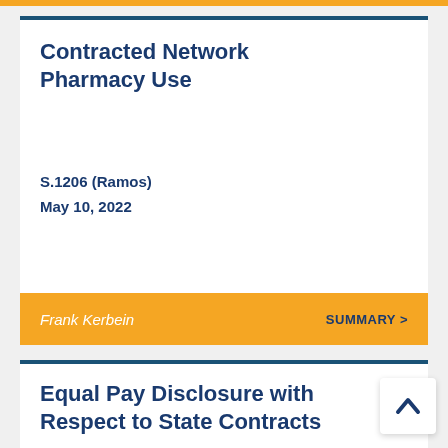Contracted Network Pharmacy Use
S.1206 (Ramos)
May 10, 2022
Frank Kerbein   SUMMARY >
Equal Pay Disclosure with Respect to State Contracts